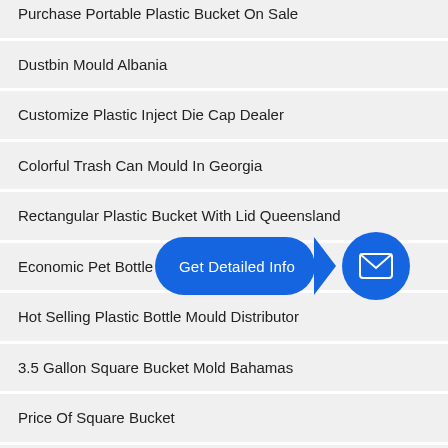Purchase Portable Plastic Bucket On Sale
Dustbin Mould Albania
Customize Plastic Inject Die Cap Dealer
Colorful Trash Can Mould In Georgia
Rectangular Plastic Bucket With Lid Queensland
Economic Pet Bottle M…
[Figure (infographic): Blue pill-shaped button with text 'Get Detailed Info' and an arrow pointing right to a blue circle with a white envelope/mail icon]
Hot Selling Plastic Bottle Mould Distributor
3.5 Gallon Square Bucket Mold Bahamas
Price Of Square Bucket
Order Outdoor Stackable Dining Chairs Producer